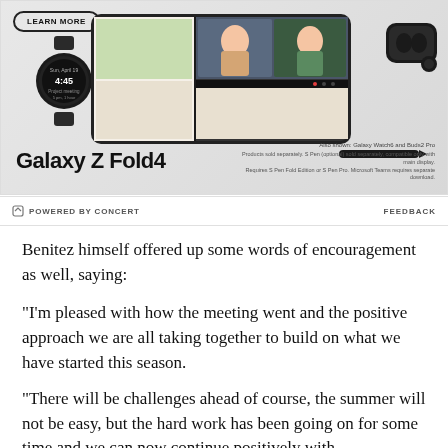[Figure (illustration): Samsung Galaxy Z Fold4 advertisement showing the foldable phone open with a video call, a Galaxy Watch6, Buds2 Pro earbuds, and S Pen. Includes a 'LEARN MORE' button and product text.]
POWERED BY CONCERT   FEEDBACK
Benitez himself offered up some words of encouragement as well, saying:
“I’m pleased with how the meeting went and the positive approach we are all taking together to build on what we have started this season.
“There will be challenges ahead of course, the summer will not be easy, but the hard work has been going on for some time and we can now continue positively with